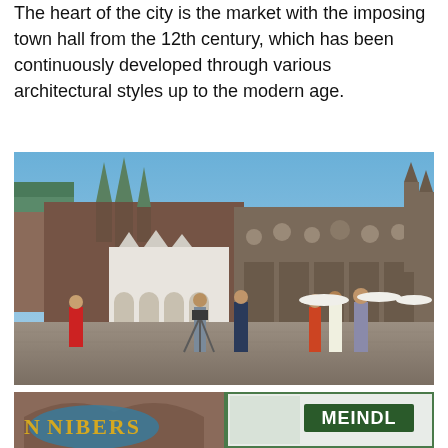The heart of the city is the market with the imposing town hall from the 12th century, which has been continuously developed through various architectural styles up to the modern age.
[Figure (photo): Outdoor photo of Lübeck market square with the historic town hall building featuring dark brick Gothic towers with green copper spires, a white Renaissance arcade facade, and a large Gothic hall wing. People are in the foreground including a cameraman with a tripod filming a reporter, pedestrians, and outdoor cafe umbrellas visible in the background.]
[Figure (photo): Partial view of storefronts at the bottom of the page. On the left side a decorative blue and gold shop sign reading 'NIBERS' is visible under brick arches. On the right side a green-bordered shop window with 'MEINDL' signage is visible.]